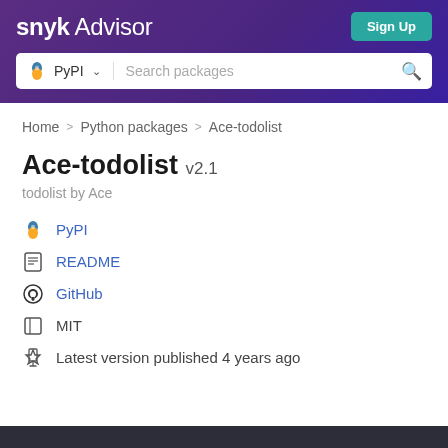snyk Advisor — Sign Up | PyPI Search packages
Home > Python packages > Ace-todolist
Ace-todolist v2.1
todolist by Ace
PyPI
README
GitHub
MIT
Latest version published 4 years ago